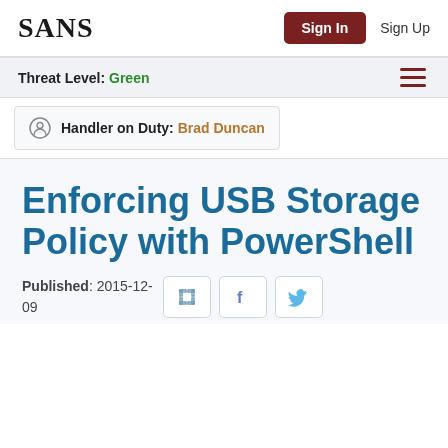SANS | Sign In | Sign Up
Threat Level: Green
Handler on Duty: Brad Duncan
Enforcing USB Storage Policy with PowerShell
Published: 2015-12-09